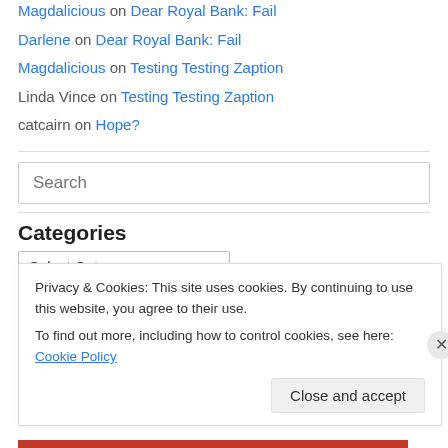Magdalicious on Dear Royal Bank: Fail
Darlene on Dear Royal Bank: Fail
Magdalicious on Testing Testing Zaption
Linda Vince on Testing Testing Zaption
catcairn on Hope?
[Figure (screenshot): Search input box with placeholder text 'Search']
Categories
[Figure (screenshot): Select Category dropdown]
Privacy & Cookies: This site uses cookies. By continuing to use this website, you agree to their use. To find out more, including how to control cookies, see here: Cookie Policy
Close and accept